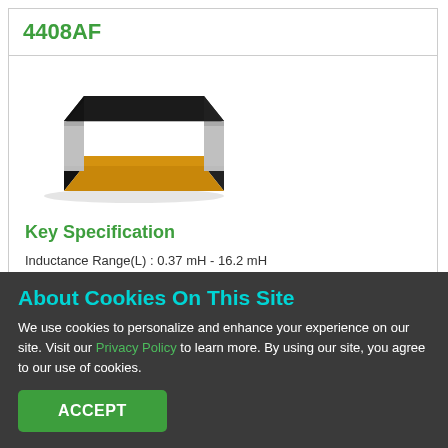4408AF
[Figure (photo): Photo of 4408AF inductor component — a flat rectangular component with black top, gold/amber sides, and metallic silver terminals at each end.]
Key Specification
Inductance Range(L) : 0.37 mH - 16.2 mH
Self Resonant Frequency : 200 kHz - 1200 kHz
DC Resistance : 6.4 Ω - 175 Ω
Material : Ceramic & Ferrite
About Cookies On This Site
We use cookies to personalize and enhance your experience on our site. Visit our Privacy Policy to learn more. By using our site, you agree to our use of cookies.
ACCEPT